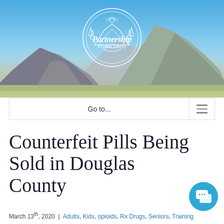[Figure (photo): Header banner photo of mountain landscape with blue sky, showing rocky peaks and open fields. Partnership Douglas County logo overlaid in white circle in center.]
Go to...
Counterfeit Pills Being Sold in Douglas County
March 13th, 2020 | Adults, Kids, opioids, Rx Drugs, Seniors, Training